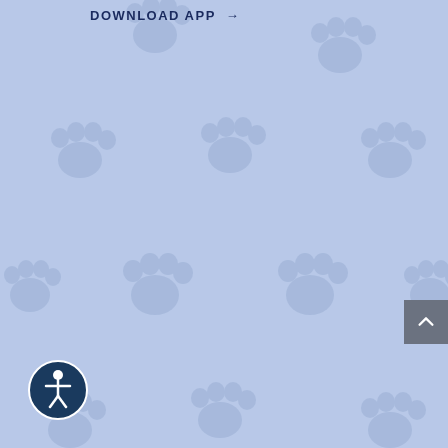[Figure (illustration): Light blue background with repeating semi-transparent paw print pattern throughout the entire page area]
DOWNLOAD APP →
[Figure (other): Gray scroll-to-top button with upward chevron arrow icon, positioned at the right edge of the page]
[Figure (other): Accessibility icon button — circular dark navy blue badge with white human figure (wheelchair accessibility symbol), positioned at bottom-left]